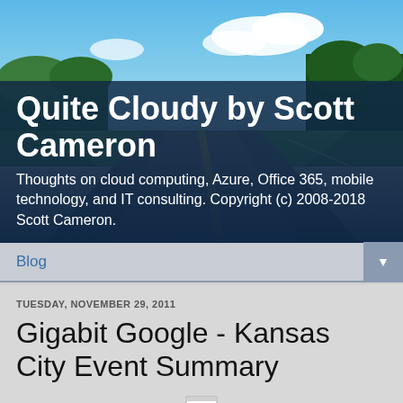[Figure (photo): Header image showing a straight road receding into the distance with blue sky, white clouds, and green trees on either side, with a dark navy overlay at the bottom containing the site title and tagline.]
Quite Cloudy by Scott Cameron
Thoughts on cloud computing, Azure, Office 365, mobile technology, and IT consulting. Copyright (c) 2008-2018 Scott Cameron.
Blog
TUESDAY, NOVEMBER 29, 2011
Gigabit Google - Kansas City Event Summary
[Figure (illustration): Small broken/placeholder image icon at the bottom of the page]